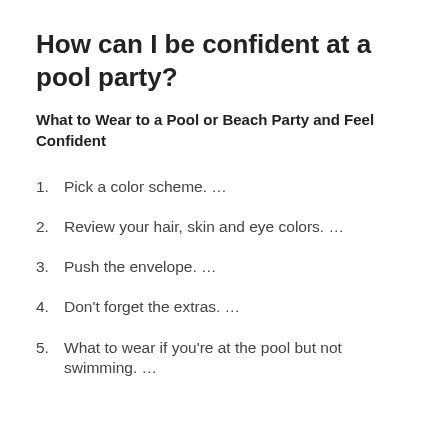How can I be confident at a pool party?
What to Wear to a Pool or Beach Party and Feel Confident
1. Pick a color scheme. …
2. Review your hair, skin and eye colors. …
3. Push the envelope. …
4. Don't forget the extras. …
5. What to wear if you're at the pool but not swimming. …